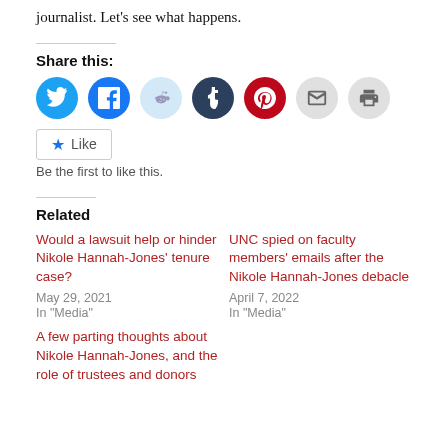journalist. Let's see what happens.
Share this:
[Figure (other): Social sharing icons: Twitter (blue), Facebook (blue), Reddit (light blue), Tumblr (dark blue), Pinterest (red), Email (light gray), Print (light gray)]
Like
Be the first to like this.
Related
Would a lawsuit help or hinder Nikole Hannah-Jones' tenure case?
May 29, 2021
In "Media"
UNC spied on faculty members' emails after the Nikole Hannah-Jones debacle
April 7, 2022
In "Media"
A few parting thoughts about Nikole Hannah-Jones, and the role of trustees and donors